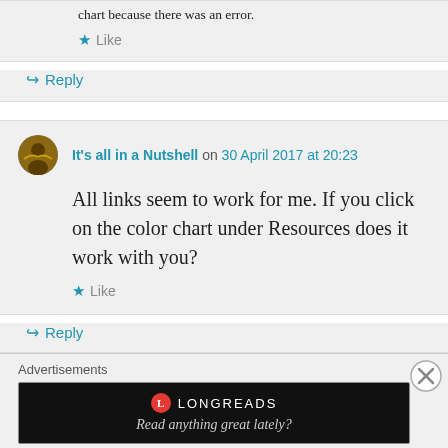chart because there was an error.
★ Like
↪ Reply
It's all in a Nutshell on 30 April 2017 at 20:23
All links seem to work for me. If you click on the color chart under Resources does it work with you?
★ Like
↪ Reply
Advertisements
[Figure (other): Longreads advertisement banner with red circle logo and italic tagline 'Read anything great lately?']